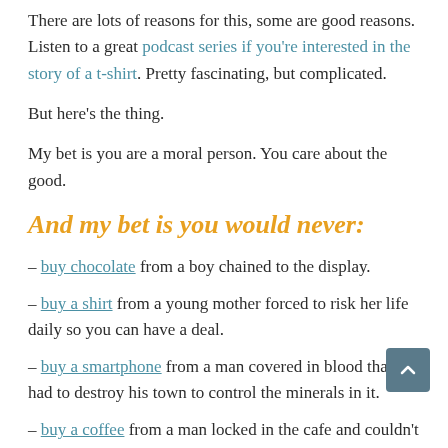There are lots of reasons for this, some are good reasons. Listen to a great podcast series if you're interested in the story of a t-shirt. Pretty fascinating, but complicated.
But here's the thing.
My bet is you are a moral person. You care about the good.
And my bet is you would never:
– buy chocolate from a boy chained to the display.
– buy a shirt from a young mother forced to risk her life daily so you can have a deal.
– buy a smartphone from a man covered in blood that had to destroy his town to control the minerals in it.
– buy a coffee from a man locked in the cafe and couldn't